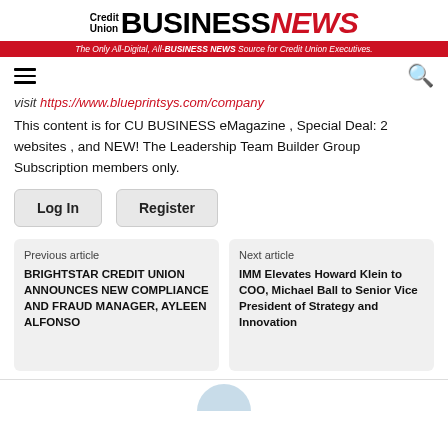Credit Union BUSINESS NEWS — The Only All-Digital, All-BUSINESS NEWS Source for Credit Union Executives.
visit https://www.blueprintsys.com/company
This content is for CU BUSINESS eMagazine , Special Deal: 2 websites , and NEW! The Leadership Team Builder Group Subscription members only.
Log In   Register
Previous article
BRIGHTSTAR CREDIT UNION ANNOUNCES NEW COMPLIANCE AND FRAUD MANAGER, AYLEEN ALFONSO
Next article
IMM Elevates Howard Klein to COO, Michael Ball to Senior Vice President of Strategy and Innovation